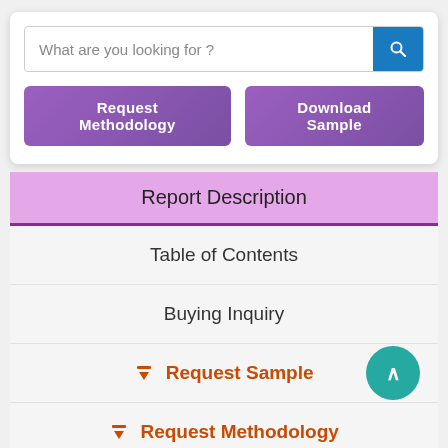What are you looking for ?
Request Methodology
Download Sample
Report Description
Table of Contents
Buying Inquiry
Request Sample
Request Methodology
COVID-19